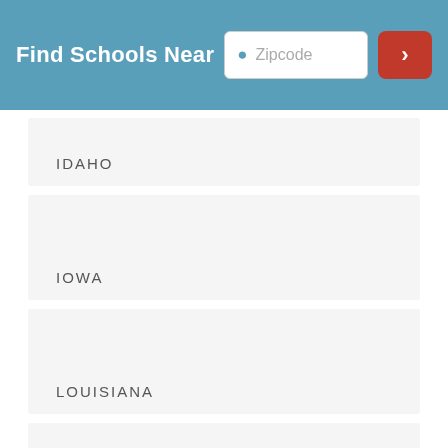Find Schools Near [Zipcode search bar]
IDAHO
IOWA
LOUISIANA
MASSACHUSETTS
MISSISSIPPI